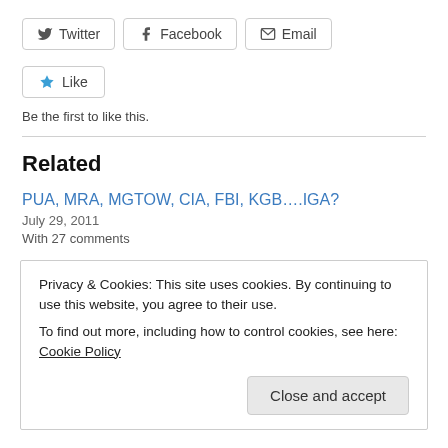[Figure (other): Share buttons: Twitter, Facebook, Email]
[Figure (other): Like button with star icon]
Be the first to like this.
Related
PUA, MRA, MGTOW, CIA, FBI, KGB….IGA?
July 29, 2011
With 27 comments
Naivete; It Would Be funny If Not So Sad.
July 17, 2013
Privacy & Cookies: This site uses cookies. By continuing to use this website, you agree to their use.
To find out more, including how to control cookies, see here: Cookie Policy
Close and accept